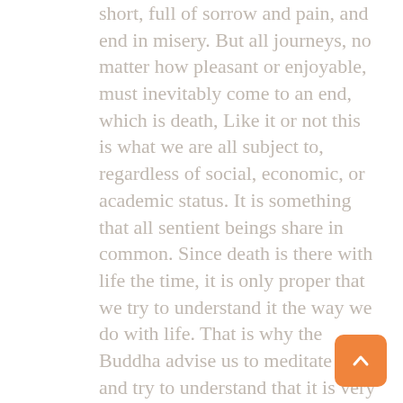short, full of sorrow and pain, and end in misery. But all journeys, no matter how pleasant or enjoyable, must inevitably come to an end, which is death, Like it or not this is what we are all subject to, regardless of social, economic, or academic status. It is something that all sentient beings share in common. Since death is there with life the time, it is only proper that we try to understand it the way we do with life. That is why the Buddha advise us to meditate on it and try to understand that it is very much part of our